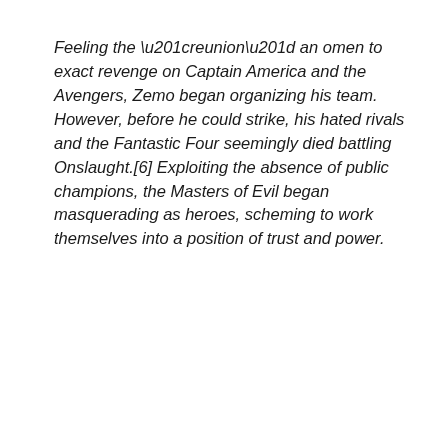Feeling the “reunion” an omen to exact revenge on Captain America and the Avengers, Zemo began organizing his team. However, before he could strike, his hated rivals and the Fantastic Four seemingly died battling Onslaught.[6] Exploiting the absence of public champions, the Masters of Evil began masquerading as heroes, scheming to work themselves into a position of trust and power.